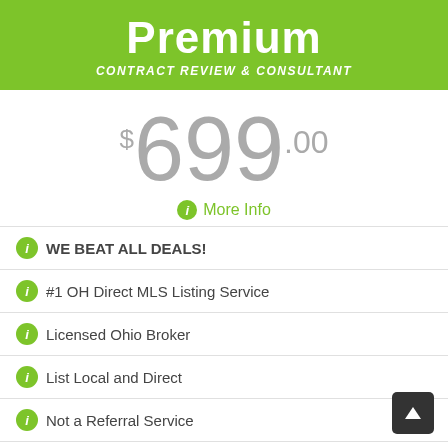Premium
CONTRACT REVIEW & CONSULTANT
$699.00
More Info
WE BEAT ALL DEALS!
#1 OH Direct MLS Listing Service
Licensed Ohio Broker
List Local and Direct
Not a Referral Service
Sale or Lease
Photos Max Allowed in MLS
Listing Term 6 months